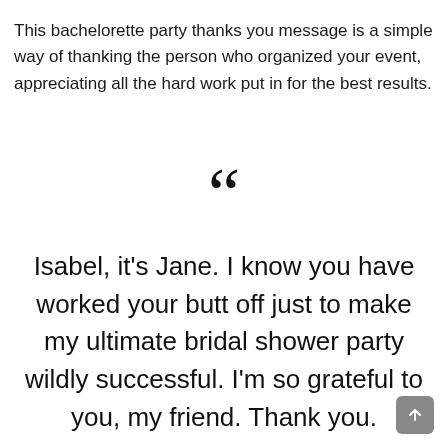This bachelorette party thanks you message is a simple way of thanking the person who organized your event, appreciating all the hard work put in for the best results.
[Figure (illustration): Large decorative opening double quotation mark symbol in black]
Isabel, it's Jane. I know you have worked your butt off just to make my ultimate bridal shower party wildly successful. I'm so grateful to you, my friend. Thank you.